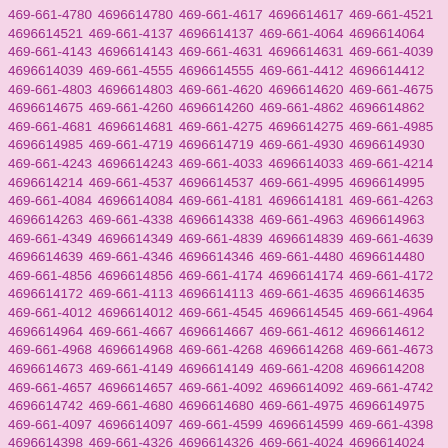469-661-4780 4696614780 469-661-4617 4696614617 469-661-4521 4696614521 469-661-4137 4696614137 469-661-4064 4696614064 469-661-4143 4696614143 469-661-4631 4696614631 469-661-4039 4696614039 469-661-4555 4696614555 469-661-4412 4696614412 469-661-4803 4696614803 469-661-4620 4696614620 469-661-4675 4696614675 469-661-4260 4696614260 469-661-4862 4696614862 469-661-4681 4696614681 469-661-4275 4696614275 469-661-4985 4696614985 469-661-4719 4696614719 469-661-4930 4696614930 469-661-4243 4696614243 469-661-4033 4696614033 469-661-4214 4696614214 469-661-4537 4696614537 469-661-4995 4696614995 469-661-4084 4696614084 469-661-4181 4696614181 469-661-4263 4696614263 469-661-4338 4696614338 469-661-4963 4696614963 469-661-4349 4696614349 469-661-4839 4696614839 469-661-4639 4696614639 469-661-4346 4696614346 469-661-4480 4696614480 469-661-4856 4696614856 469-661-4174 4696614174 469-661-4172 4696614172 469-661-4113 4696614113 469-661-4635 4696614635 469-661-4012 4696614012 469-661-4545 4696614545 469-661-4964 4696614964 469-661-4667 4696614667 469-661-4612 4696614612 469-661-4968 4696614968 469-661-4268 4696614268 469-661-4673 4696614673 469-661-4149 4696614149 469-661-4208 4696614208 469-661-4657 4696614657 469-661-4092 4696614092 469-661-4742 4696614742 469-661-4680 4696614680 469-661-4975 4696614975 469-661-4097 4696614097 469-661-4599 4696614599 469-661-4398 4696614398 469-661-4326 4696614326 469-661-4024 4696614024 469-661-4994 4696614994 469-661-4793 4696614793 469-661-4916 4696614916 469-661-4790 4696614790 469-661-4417 4696614417 469-661-4954 4696614954 469-661-4655 4696614655 469-661-4169